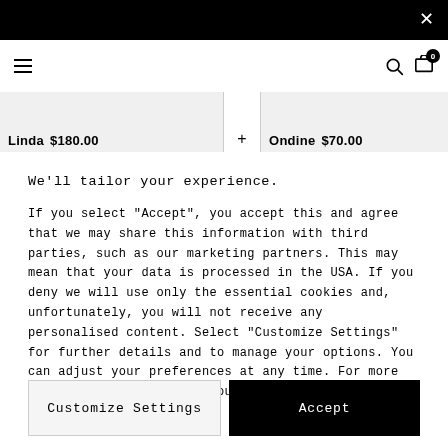Navigation bar with hamburger menu, search icon, and cart (0 items)
Linda  $180.00  +  Ondine  $70.00
We'll tailor your experience.
If you select "Accept", you accept this and agree that we may share this information with third parties, such as our marketing partners. This may mean that your data is processed in the USA. If you deny we will use only the essential cookies and, unfortunately, you will not receive any personalised content. Select "Customize Settings" for further details and to manage your options. You can adjust your preferences at any time. For more information, please read our privacy policy.
Customize Settings
Accept